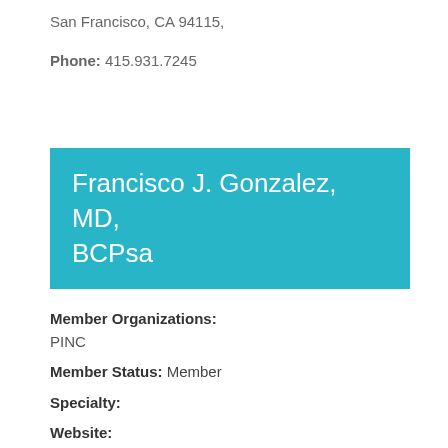San Francisco, CA 94115,
Phone: 415.931.7245
Francisco J. Gonzalez, MD, BCPsa
Member Organizations: PINC
Member Status: Member
Specialty:
Website:
Location: